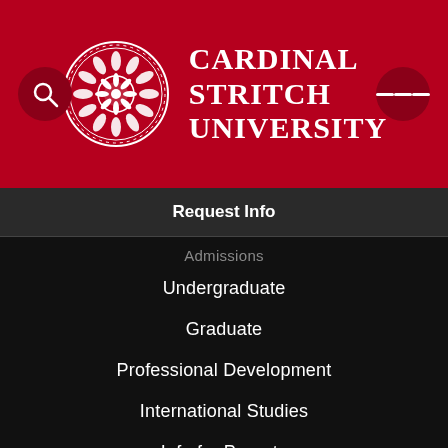[Figure (logo): Cardinal Stritch University header with logo medallion, search button, and hamburger menu button on red background]
Request Info
Admissions
Undergraduate
Graduate
Professional Development
International Studies
Info for Parents
Financial Aid
Academics